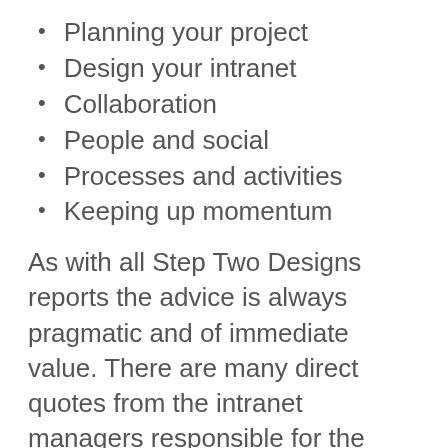Planning your project
Design your intranet
Collaboration
People and social
Processes and activities
Keeping up momentum
As with all Step Two Designs reports the advice is always pragmatic and of immediate value. There are many direct quotes from the intranet managers responsible for the intranets profiled in the report and these provide a validation of the good practice advice. The quality of presentation and the reproduction of the